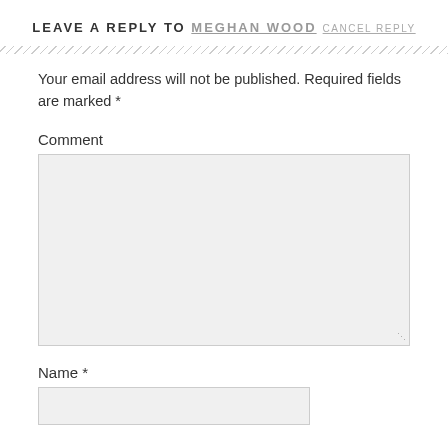LEAVE A REPLY TO MEGHAN WOOD CANCEL REPLY
Your email address will not be published. Required fields are marked *
Comment
Name *